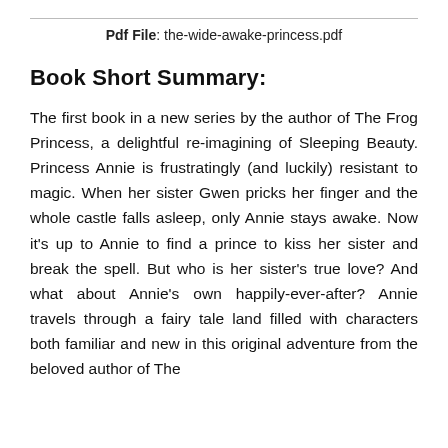Pdf File: the-wide-awake-princess.pdf
Book Short Summary:
The first book in a new series by the author of The Frog Princess, a delightful re-imagining of Sleeping Beauty. Princess Annie is frustratingly (and luckily) resistant to magic. When her sister Gwen pricks her finger and the whole castle falls asleep, only Annie stays awake. Now it's up to Annie to find a prince to kiss her sister and break the spell. But who is her sister's true love? And what about Annie's own happily-ever-after? Annie travels through a fairy tale land filled with characters both familiar and new in this original adventure from the beloved author of The